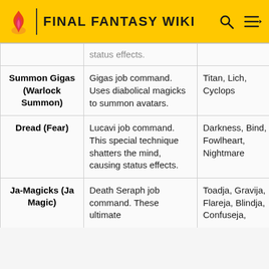FINAL FANTASY WIKI
| Name | Description | Effects | Source |
| --- | --- | --- | --- |
| [partial] status effects. |  |  |  |
| Summon Gigas (Warlock Summon) | Gigas job command. Uses diabolical magicks to summon avatars. | Titan, Lich, Cyclops | Belias |
| Dread (Fear) | Lucavi job command. This special technique shatters the mind, causing status effects. | Darkness, Bind, Fowlheart, Nightmare | Zalera |
| Ja-Magicks (Ja Magic) | Death Seraph job command. These ultimate | Toadja, Gravija, Flareja, Blindja, Confuseja, | Zalera |